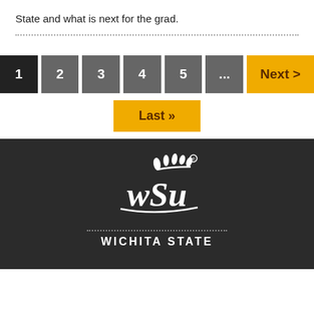State and what is next for the grad.
[Figure (screenshot): Pagination navigation with buttons: 1 (active/dark), 2, 3, 4, 5, ..., Next >, and a Last >> button below]
[Figure (logo): Wichita State University WSU logo in white on dark background with dotted line and WICHITA STATE text below]